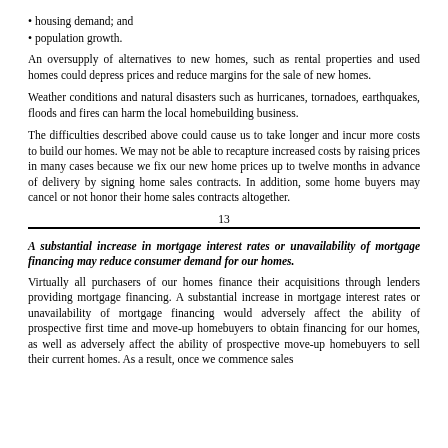housing demand; and
population growth.
An oversupply of alternatives to new homes, such as rental properties and used homes could depress prices and reduce margins for the sale of new homes.
Weather conditions and natural disasters such as hurricanes, tornadoes, earthquakes, floods and fires can harm the local homebuilding business.
The difficulties described above could cause us to take longer and incur more costs to build our homes. We may not be able to recapture increased costs by raising prices in many cases because we fix our new home prices up to twelve months in advance of delivery by signing home sales contracts. In addition, some home buyers may cancel or not honor their home sales contracts altogether.
13
A substantial increase in mortgage interest rates or unavailability of mortgage financing may reduce consumer demand for our homes.
Virtually all purchasers of our homes finance their acquisitions through lenders providing mortgage financing. A substantial increase in mortgage interest rates or unavailability of mortgage financing would adversely affect the ability of prospective first time and move-up homebuyers to obtain financing for our homes, as well as adversely affect the ability of prospective move-up homebuyers to sell their current homes. As a result, once we commence sales